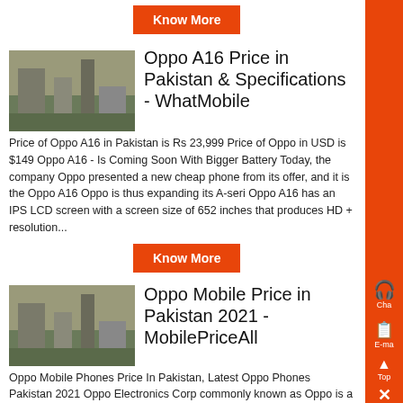Know More
[Figure (photo): Thumbnail image of a construction/industrial site]
Oppo A16 Price in Pakistan & Specifications - WhatMobile
Price of Oppo A16 in Pakistan is Rs 23,999 Price of Oppo in USD is $149 Oppo A16 - Is Coming Soon With Bigger Battery Today, the company Oppo presented a new cheap phone from its offer, and it is the Oppo A16 Oppo is thus expanding its A-seri Oppo A16 has an IPS LCD screen with a screen size of 652 inches that produces HD + resolution...
Know More
[Figure (photo): Thumbnail image of a construction/industrial site]
Oppo Mobile Price in Pakistan 2021 - MobilePriceAll
Oppo Mobile Phones Price In Pakistan, Latest Oppo Phones Pakistan 2021 Oppo Electronics Corp commonly known as Oppo is a Chinese electronics manufacturing company which produces MP3 players, LCD TVs, EBook readers as well as smartphon...
Know More